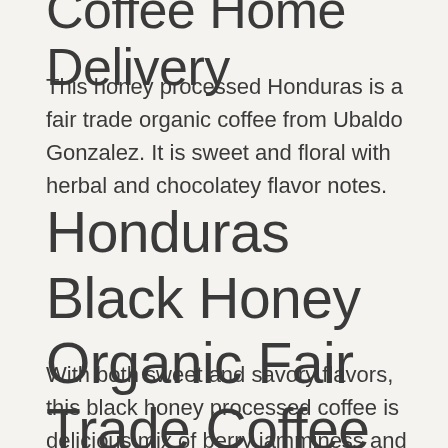Coffee Home Delivery
This honey processed Honduras is a fair trade organic coffee from Ubaldo Gonzalez. It is sweet and floral with herbal and chocolatey flavor notes.
Honduras Black Honey Organic Fair Trade Coffee
With both sweet and savory flavors, this black honey processed coffee is delicious mix of berry jamminess and dark honey velvety feel. If you love uniquely processed coffees, this coffee is from a small 11-acre